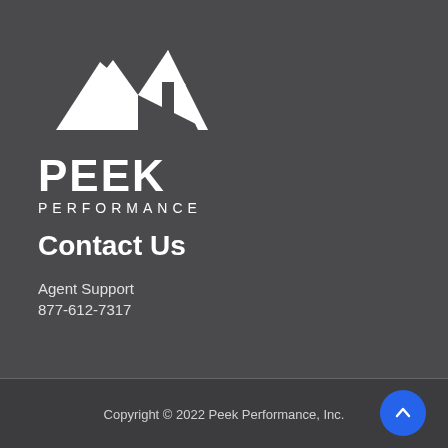[Figure (logo): Peek Performance logo with mountain/arrow icon in white, bold PEEK text, and PERFORMANCE lettering below]
Contact Us
Agent Support
877-612-7317
Copyright © 2022 Peek Performance, Inc.